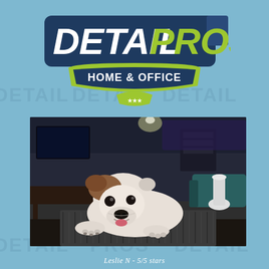[Figure (logo): Detail Pros Home & Office logo with shield shape, green and dark blue colors, white text, three stars at bottom]
[Figure (photo): A white and brown bulldog lying on a dark shaggy carpet in a living room, looking at the camera. Background shows dark furniture, a TV, a teal couch, and a white vase.]
Leslie N - 5/5 stars